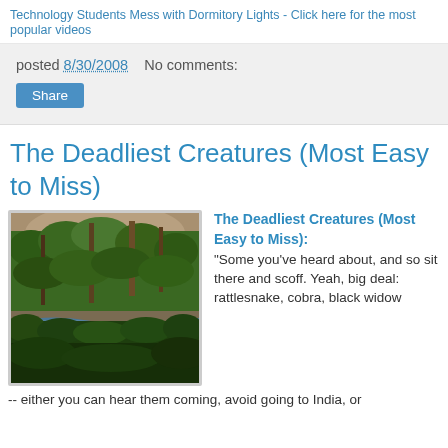Technology Students Mess with Dormitory Lights - Click here for the most popular videos
posted 8/30/2008   No comments:
Share
The Deadliest Creatures (Most Easy to Miss)
[Figure (photo): Tropical rainforest with river and tall trees]
The Deadliest Creatures (Most Easy to Miss): "Some you've heard about, and so sit there and scoff. Yeah, big deal: rattlesnake, cobra, black widow -- either you can hear them coming, avoid going to India, or